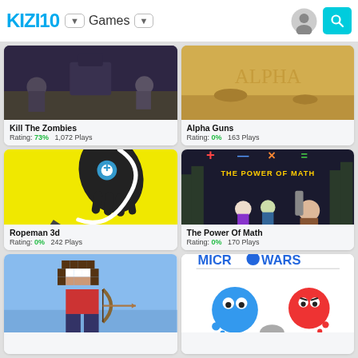KIZI10 | Games
[Figure (screenshot): Kill The Zombies game thumbnail - dark scene with military characters]
Kill The Zombies
Rating: 73%  1,072 Plays
[Figure (screenshot): Alpha Guns game thumbnail - sandy desert scene]
Alpha Guns
Rating: 0%  163 Plays
[Figure (screenshot): Ropeman 3d game thumbnail - yellow background with black glove character]
Ropeman 3d
Rating: 0%  242 Plays
[Figure (screenshot): The Power Of Math game thumbnail - dark forest scene with characters and math symbols]
The Power Of Math
Rating: 0%  170 Plays
[Figure (screenshot): Pixel archer game thumbnail - blue sky background with pixel art character holding bow]
[Figure (screenshot): Microwars game thumbnail - white background with blue and red blob characters and Microwars logo]